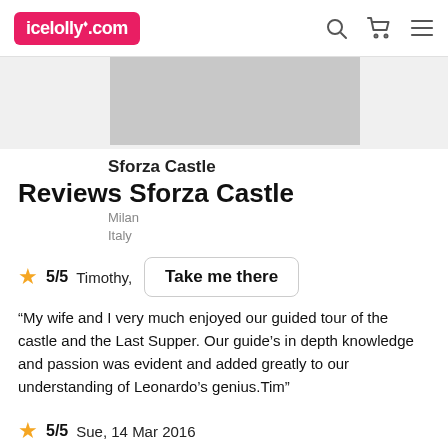icelolly.com
[Figure (photo): Image strip with a grey placeholder image of Sforza Castle]
Sforza Castle
Reviews Sforza Castle
Milan
Italy
★ 5/5  Timothy,
Take me there
“My wife and I very much enjoyed our guided tour of the castle and the Last Supper. Our guide's in depth knowledge and passion was evident and added greatly to our understanding of Leonardo's genius.Tim”
★ 5/5  Sue, 14 Mar 2016